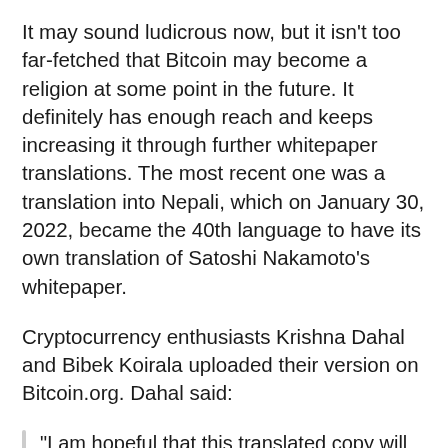It may sound ludicrous now, but it isn't too far-fetched that Bitcoin may become a religion at some point in the future. It definitely has enough reach and keeps increasing it through further whitepaper translations. The most recent one was a translation into Nepali, which on January 30, 2022, became the 40th language to have its own translation of Satoshi Nakamoto's whitepaper.
Cryptocurrency enthusiasts Krishna Dahal and Bibek Koirala uploaded their version on Bitcoin.org. Dahal said:
“I am hopeful that this translated copy will reach the wider community of my country Nepal. I am still hopeful that Nepal Government will support BTC very soon.”